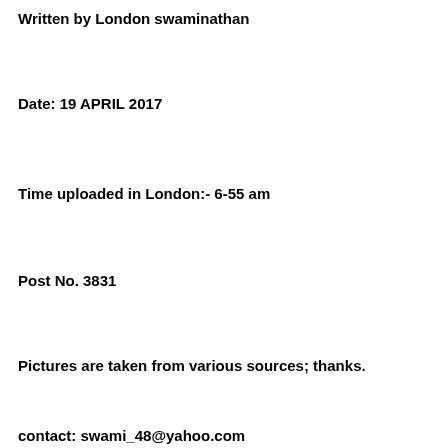Written by London swaminathan
Date: 19 APRIL 2017
Time uploaded in London:- 6-55 am
Post No. 3831
Pictures are taken from various sources; thanks.
contact: swami_48@yahoo.com